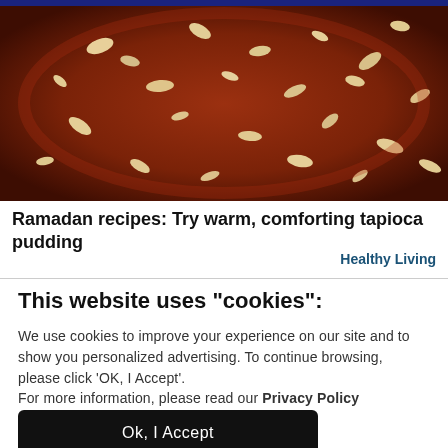[Figure (photo): Close-up photo of a brown tapioca pudding topped with scattered almond flakes in a glass dish, viewed from above.]
Ramadan recipes: Try warm, comforting tapioca pudding
Healthy Living
This website uses "cookies":
We use cookies to improve your experience on our site and to show you personalized advertising. To continue browsing, please click 'OK, I Accept'.
For more information, please read our Privacy Policy
Ok, I Accept